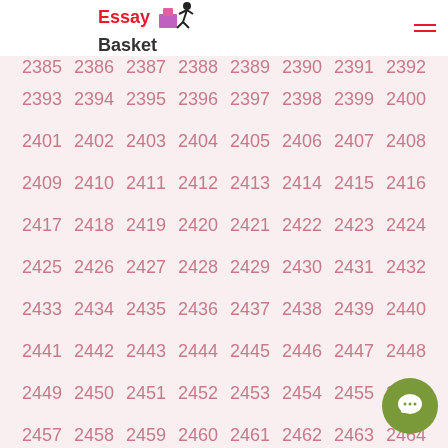Essay Basket
2385 2386 2387 2388 2389 2390 2391 2392 2393 2394 2395 2396 2397 2398 2399 2400 2401 2402 2403 2404 2405 2406 2407 2408 2409 2410 2411 2412 2413 2414 2415 2416 2417 2418 2419 2420 2421 2422 2423 2424 2425 2426 2427 2428 2429 2430 2431 2432 2433 2434 2435 2436 2437 2438 2439 2440 2441 2442 2443 2444 2445 2446 2447 2448 2449 2450 2451 2452 2453 2454 2455 2456 2457 2458 2459 2460 2461 2462 2463 2464 2465 2466 2467 2468 2469 2470 2471 2472 2473 2474 2475 2476 2477 2478 2479 2480